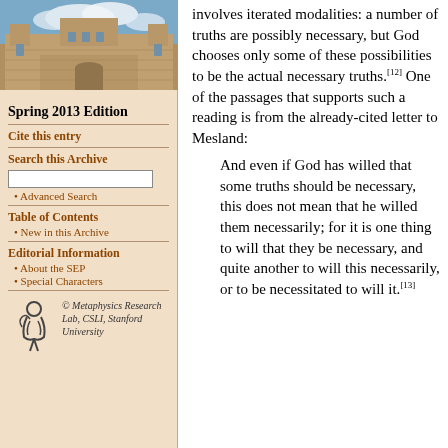[Figure (photo): Photograph of a stone university building with blue sky and clouds]
Spring 2013 Edition
Cite this entry
Search this Archive
Advanced Search
Table of Contents
New in this Archive
Editorial Information
About the SEP
Special Characters
[Figure (logo): Metaphysics Research Lab logo with stylized figure]
© Metaphysics Research Lab, CSLI, Stanford University
involves iterated modalities: a number of truths are possibly necessary, but God chooses only some of these possibilities to be the actual necessary truths.[12] One of the passages that supports such a reading is from the already-cited letter to Mesland:
And even if God has willed that some truths should be necessary, this does not mean that he willed them necessarily; for it is one thing to will that they be necessary, and quite another to will this necessarily, or to be necessitated to will it.[13]